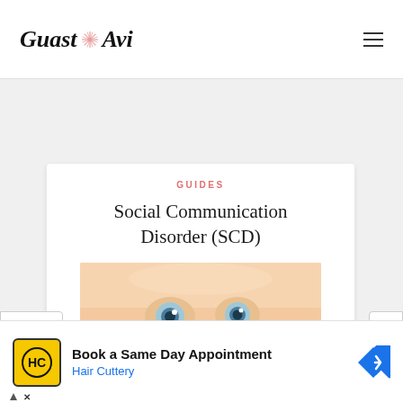Guast Avi
GUIDES
Social Communication Disorder (SCD)
[Figure (photo): Close-up photo of a baby's face with wide blue eyes looking upward]
Book a Same Day Appointment
Hair Cuttery